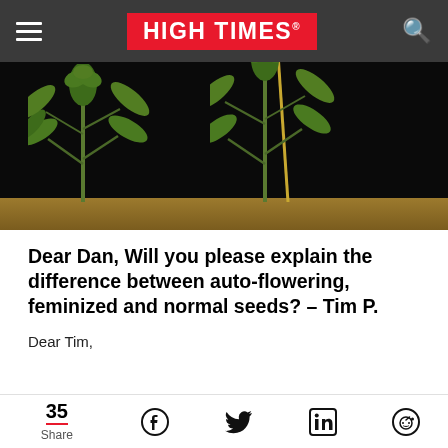HIGH TIMES
[Figure (photo): Cannabis plants growing in soil against a black background, with a yellow stake support visible]
Dear Dan, Will you please explain the difference between auto-flowering, feminized and normal seeds? – Tim P.
Dear Tim,